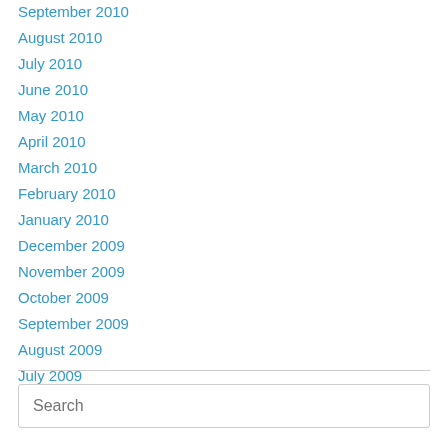September 2010
August 2010
July 2010
June 2010
May 2010
April 2010
March 2010
February 2010
January 2010
December 2009
November 2009
October 2009
September 2009
August 2009
July 2009
Search